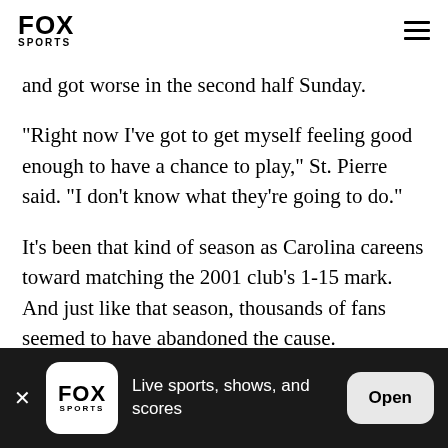FOX SPORTS
and got worse in the second half Sunday.
"Right now I've got to get myself feeling good enough to have a chance to play," St. Pierre said. "I don't know what they're going to do."
It's been that kind of season as Carolina careens toward matching the 2001 club's 1-15 mark. And just like that season, thousands of fans seemed to have abandoned the cause.
FOX SPORTS — Live sports, shows, and scores — Open